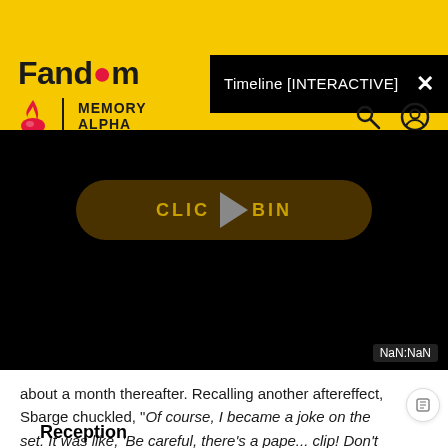[Figure (screenshot): Fandom / Memory Alpha website header with yellow background, black modal overlay showing 'Timeline [INTERACTIVE]' with close button, Memory Alpha logo with flame icon, search and user icons]
[Figure (screenshot): Video player area with black background, 'CLICK TO BEGIN' button with play triangle overlay, NaN:NaN timestamp label in bottom right]
about a month thereafter. Recalling another aftereffect, Sbarge chuckled, "Of course, I became a joke on the set. It was like, 'Be careful, there's a paper clip! Don't trip!'" (TV Zone, Special #29, p. 26)
Reception